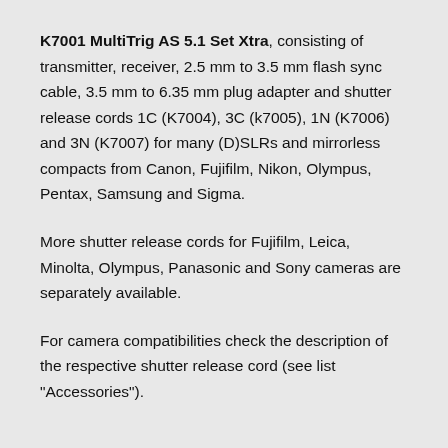K7001 MultiTrig AS 5.1 Set Xtra, consisting of transmitter, receiver, 2.5 mm to 3.5 mm flash sync cable, 3.5 mm to 6.35 mm plug adapter and shutter release cords 1C (K7004), 3C (k7005), 1N (K7006) and 3N (K7007) for many (D)SLRs and mirrorless compacts from Canon, Fujifilm, Nikon, Olympus, Pentax, Samsung and Sigma.
More shutter release cords for Fujifilm, Leica, Minolta, Olympus, Panasonic and Sony cameras are separately available.
For camera compatibilities check the description of the respective shutter release cord (see list "Accessories").